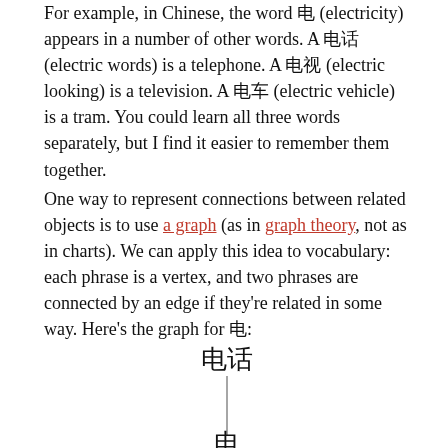For example, in Chinese, the word 电 (electricity) appears in a number of other words. A 电话 (electric words) is a telephone. A 电视 (electric looking) is a television. A 电车 (electric vehicle) is a tram. You could learn all three words separately, but I find it easier to remember them together.
One way to represent connections between related objects is to use a graph (as in graph theory, not as in charts). We can apply this idea to vocabulary: each phrase is a vertex, and two phrases are connected by an edge if they're related in some way. Here's the graph for 电:
[Figure (network-graph): A partial network graph showing Chinese vocabulary related to 电 (electricity). The top node shows 电话 connected by a vertical edge down to a lower node (partially visible), representing related vocabulary words as vertices connected by edges.]